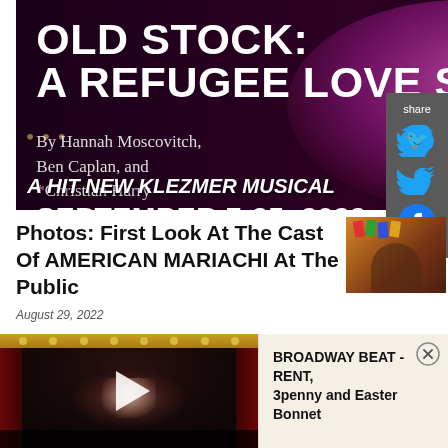[Figure (photo): Advertisement for 'Old Stock: A Refugee Love Story' - dark theatrical poster with a performer in purple coat and pink hat holding a microphone, with text overlay. Shows title, creators (By Hannah Moscovitch, Ben Caplan, and Christian Barry), dates September 7-25, 2022, tagline 'A Hit New Klezmer Musical' and 'GET TICKETS' button.]
[Figure (infographic): Share panel on right side with 'share' label, Twitter bird icon, and Facebook icon on dark gray background.]
Photos: First Look At The Cast Of AMERICAN MARIACHI At The Public
[Figure (photo): Thumbnail image for article about American Mariachi at The Public - colorful theatrical scene]
August 29, 2022
[Figure (screenshot): Video thumbnail showing a theater stage interior with red curtains and stage lights, with a play button overlay. Dark atmospheric image of empty theater.]
BROADWAY BEAT - RENT, 3penny and Easter Bonnet